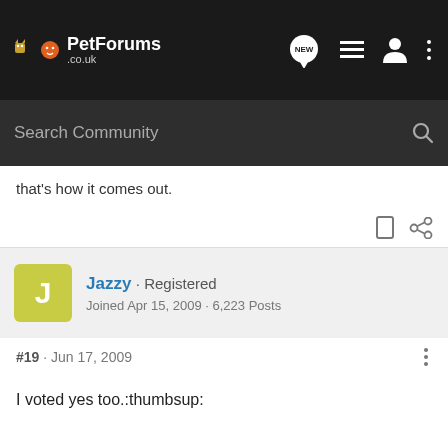PetForums .co.uk
Search Community
that's how it comes out.
Jazzy · Registered
Joined Apr 15, 2009 · 6,223 Posts
#19 · Jun 17, 2009
I voted yes too.:thumbsup: